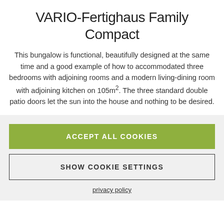VARIO-Fertighaus Family Compact
This bungalow is functional, beautifully designed at the same time and a good example of how to accommodated three bedrooms with adjoining rooms and a modern living-dining room with adjoining kitchen on 105m². The three standard double patio doors let the sun into the house and nothing to be desired.
ACCEPT ALL COOKIES
SHOW COOKIE SETTINGS
privacy policy